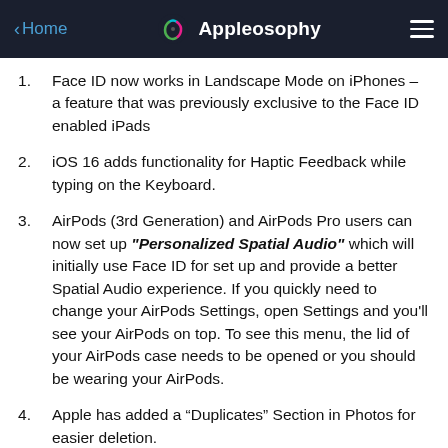Home | Appleosophy
Face ID now works in Landscape Mode on iPhones – a feature that was previously exclusive to the Face ID enabled iPads
iOS 16 adds functionality for Haptic Feedback while typing on the Keyboard.
AirPods (3rd Generation) and AirPods Pro users can now set up "Personalized Spatial Audio" which will initially use Face ID for set up and provide a better Spatial Audio experience. If you quickly need to change your AirPods Settings, open Settings and you'll see your AirPods on top. To see this menu, the lid of your AirPods case needs to be opened or you should be wearing your AirPods.
Apple has added a “Duplicates” Section in Photos for easier deletion.
The “Recently Deleted” and “Hidden” Secti...